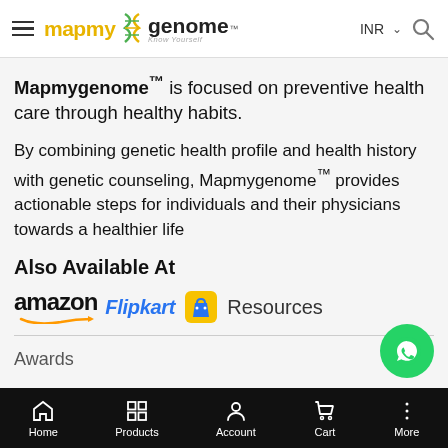mapmygenome™ — INR
Mapmygenome™ is focused on preventive healthcare through healthy habits.
By combining genetic health profile and health history with genetic counseling, Mapmygenome™ provides actionable steps for individuals and their physicians towards a healthier life
Also Available At
[Figure (logo): Amazon logo, Flipkart logo with bag icon, Resources text]
Awards
Doctors
Partners
About Us
Home | Products | Account | Cart | More